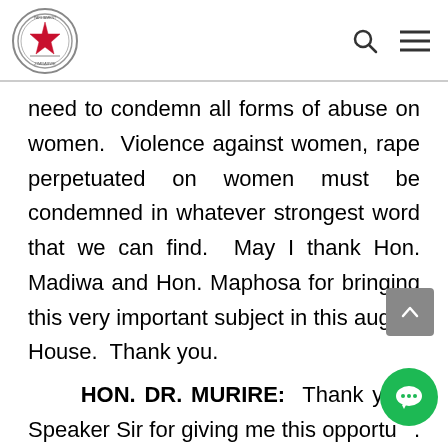Parliament of Zimbabwe header with logo, search icon, and menu icon
need to condemn all forms of abuse on women.  Violence against women, rape perpetuated on women must be condemned in whatever strongest word that we can find.  May I thank Hon. Madiwa and Hon. Maphosa for bringing this very important subject in this august House.  Thank you.
HON. DR. MURIRE:  Thank you Mr. Speaker Sir for giving me this opportunity.  I